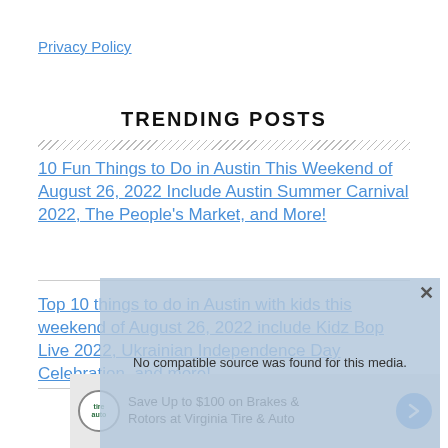Privacy Policy
TRENDING POSTS
10 Fun Things to Do in Austin This Weekend of August 26, 2022 Include Austin Summer Carnival 2022, The People's Market, and More!
Top 10 things to do in Austin with kids this weekend of August 26, 2022 include Kidz Bop Live 2022, Ukrainian Independence Day Celebration, and more!
[Figure (other): Video player overlay with message 'No compatible source was found for this media.' and an advertisement for Virginia Tire & Auto: 'Save Up to $100 on Brakes & Rotors at Virginia Tire & Auto']